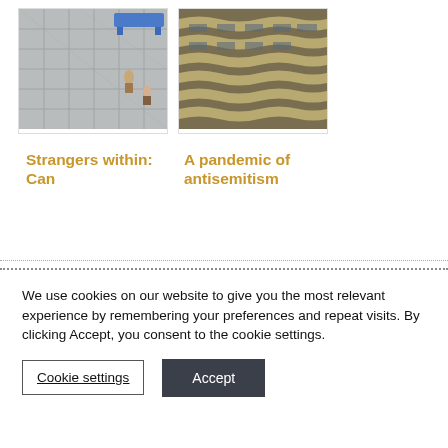[Figure (photo): Aerial view of a tiled floor/plaza with people and a blue bench visible from above]
Strangers within: Can
[Figure (photo): Close-up of a curved modern building facade with wavy lines and balconies in brown/gold tones]
A pandemic of antisemitism
We use cookies on our website to give you the most relevant experience by remembering your preferences and repeat visits. By clicking Accept, you consent to the cookie settings.
Cookie settings
Accept